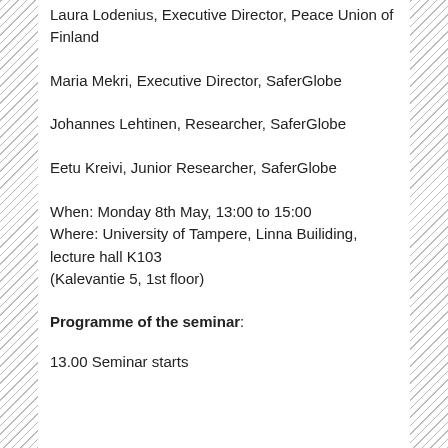Laura Lodenius, Executive Director, Peace Union of Finland
Maria Mekri, Executive Director, SaferGlobe
Johannes Lehtinen, Researcher, SaferGlobe
Eetu Kreivi, Junior Researcher, SaferGlobe
When: Monday 8th May, 13:00 to 15:00
Where: University of Tampere, Linna Builiding, lecture hall K103
(Kalevantie 5, 1st floor)
Programme of the seminar:
13.00 Seminar starts